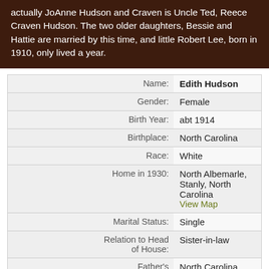actually JoAnne Hudson and Craven is Uncle Ted, Reece Craven Hudson. The two older daughters, Bessie and Hattie are married by this time, and little Robert Lee, born in 1910, only lived a year.
| Field | Value |
| --- | --- |
| Name: | Edith Hudson |
| Gender: | Female |
| Birth Year: | abt 1914 |
| Birthplace: | North Carolina |
| Race: | White |
| Home in 1930: | North Albemarle, Stanly, North Carolina
View Map |
| Marital Status: | Single |
| Relation to Head of House: | Sister-in-law |
| Father's Birthplace: | North Carolina |
| Mother's Birthplace: | North Carolina |
| Occupation: |  |
| Education: |  |